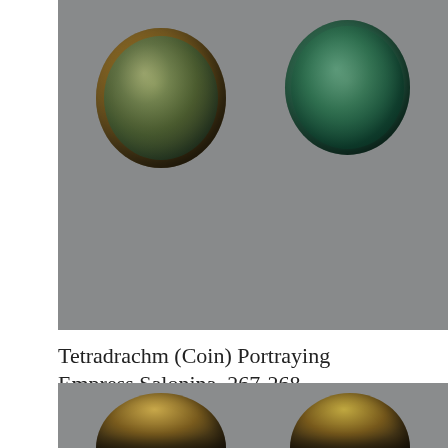[Figure (photo): Two ancient Roman bronze coins (tetradrachm) displayed side by side on a gray background. Left coin shows portrait of Empress Salonina. Right coin shows reverse side with figure on horseback or standing figure.]
Tetradrachm (Coin) Portraying Empress Salonina, 267-268
Ancient Roman
[Figure (photo): Partial view of two more ancient Roman coins on gray background, showing tops of coins.]